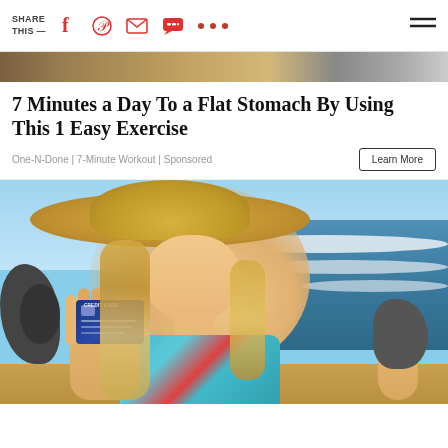SHARE THIS —
[Figure (photo): Partial top image strip showing a cropped photo (appears to be a person or object, mostly cut off)]
7 Minutes a Day To a Flat Stomach By Using This 1 Easy Exercise
One-N-Done | 7-Minute Workout | Sponsored
[Figure (photo): Smiling young blonde woman at the beach wearing a large straw hat and floral bikini top, holding up a blue credit card]